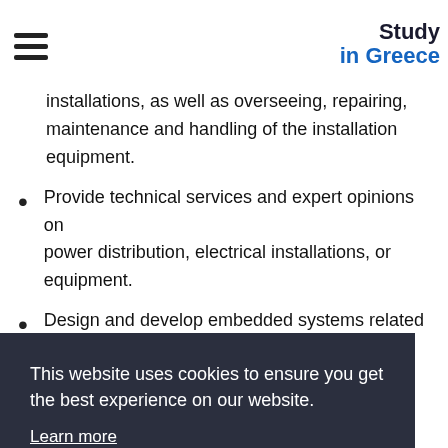Study in Greece
installations, as well as overseeing, repairing, maintenance and handling of the installation equipment.
Provide technical services and expert opinions on power distribution, electrical installations, or equipment.
Design and develop embedded systems related to several industries including the
This website uses cookies to ensure you get the best experience on our website.
Learn more
Got it!